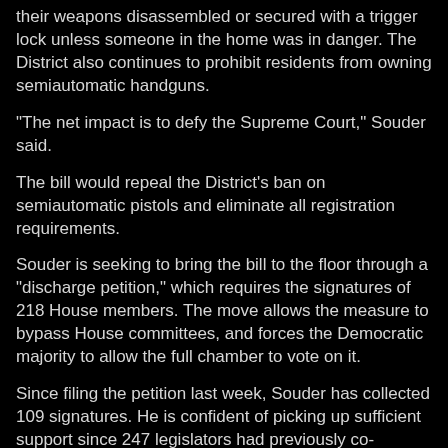their weapons disassembled or secured with a trigger lock unless someone in the home was in danger. The District also continues to prohibit residents from owning semiautomatic handguns.
"The net impact is to defy the Supreme Court," Souder said.
The bill would repeal the District's ban on semiautomatic pistols and eliminate all registration requirements.
Souder is seeking to bring the bill to the floor through a "discharge petition," which requires the signatures of 218 House members. The move allows the measure to bypass House committees, and forces the Democratic majority to allow the full chamber to vote on it.
Since filing the petition last week, Souder has collected 109 signatures. He is confident of picking up sufficient support since 247 legislators had previously co-sponsored the gun bill, including 56 Democrats...
More